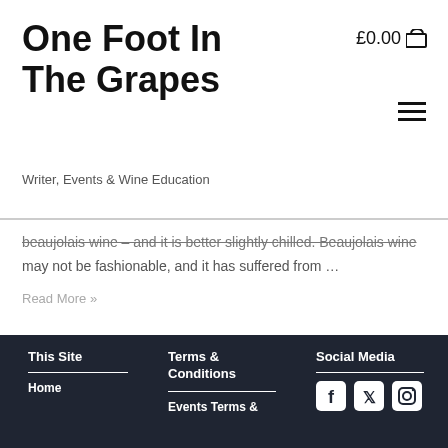One Foot In The Grapes
£0.00
Writer, Events & Wine Education
Beaujolais wine – and it is better slightly chilled. Beaujolais wine may not be fashionable, and it has suffered from …
Read More »
This Site
Terms & Conditions
Social Media
Home
Events Terms & Conditions